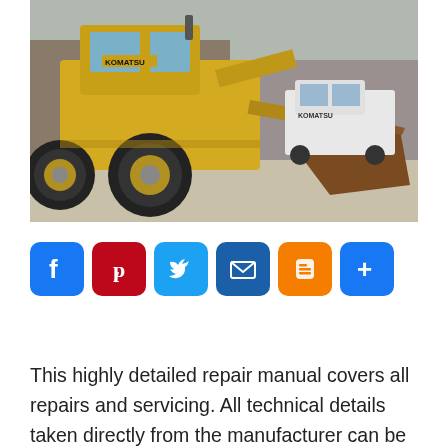[Figure (photo): Yellow Komatsu wheel loader (front loader / bucket loader) parked in a yard. The machine is yellow with large black tires and a rust/dirt-covered bucket raised at the front. A white Komatsu van is visible in the background, along with a brick building.]
[Figure (infographic): Social sharing buttons row: Facebook (blue), Pinterest (red), Twitter (light blue), Email (dark blue), Blogger (orange), Share/More (dark blue)]
This highly detailed repair manual covers all repairs and servicing. All technical details taken directly from the manufacturer can be found in this manual. It is